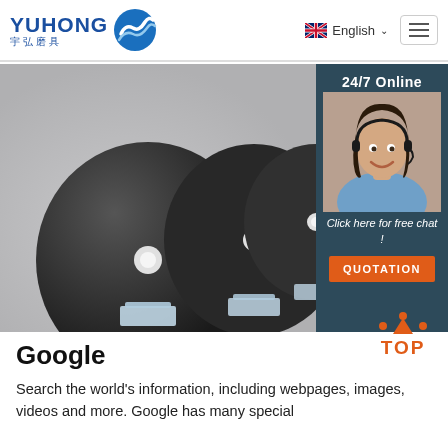YUHONG 宇弘磨具 | English
[Figure (photo): Hero banner showing three black abrasive cutting discs of different sizes on stands, with a customer service chat overlay on the right showing a woman with headset, '24/7 Online' text, 'Click here for free chat!' and an orange QUOTATION button]
[Figure (other): TOP button with orange text and dot-arc icon]
Google
Search the world's information, including webpages, images, videos and more. Google has many special